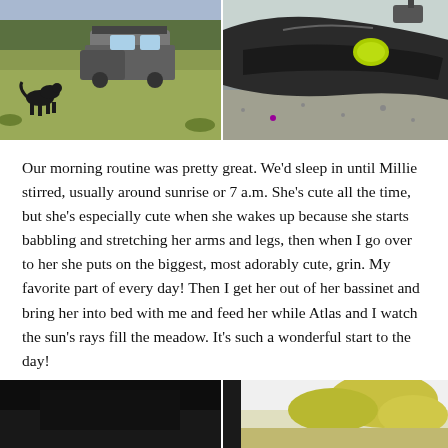[Figure (photo): Two outdoor photos side by side at top: left shows a black dog in a meadow with a camper/RV van and trees in background; right shows close-up of a boat seat or vehicle interior with a yellow/green item visible.]
Our morning routine was pretty great. We'd sleep in until Millie stirred, usually around sunrise or 7 a.m. She's cute all the time, but she's especially cute when she wakes up because she starts babbling and stretching her arms and legs, then when I go over to her she puts on the biggest, most adorably cute, grin. My favorite part of every day! Then I get her out of her bassinet and bring her into bed with me and feed her while Atlas and I watch the sun's rays fill the meadow. It's such a wonderful start to the day!
[Figure (photo): Two partial photos at the bottom: left is a dark/black scene, right shows a bright outdoor scene with yellow-green foliage.]